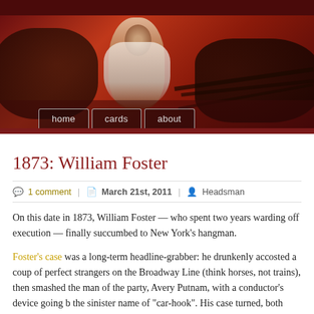[Figure (photo): Header image of a dramatic painting showing figures in a dark reddish scene, likely a historical artwork. Navigation bar with 'home', 'cards', 'about' buttons overlaid at the bottom.]
1873: William Foster
1 comment | March 21st, 2011 | Headsman
On this date in 1873, William Foster — who spent two years warding off execution — finally succumbed to New York's hangman.
Foster's case was a long-term headline-grabber: he drunkenly accosted a coup of perfect strangers on the Broadway Line (think horses, not trains), then smashed the man of the party, Avery Putnam, with a conductor's device going b the sinister name of "car-hook". His case turned, both juridically and in the publ eye, on the question of whether Foster had formed an "intent" sufficient to justif first-degree murder conviction; the killer's own jury later joined appeals for his reprieve, having felt buffaloed by public opinion in the immediate aftermath of th crime.
This case also clearly had a significant class component — a respectable gentleman randomly slain by a workingman — and the newspapers' coverage